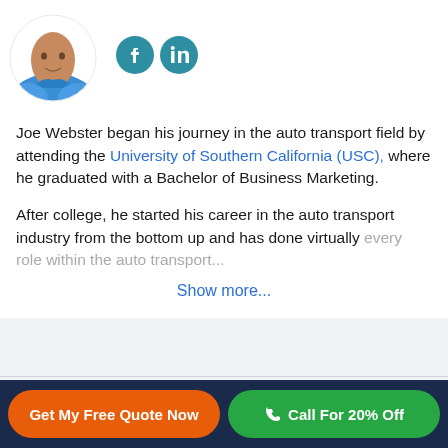[Figure (photo): Circular profile photo of Joe Webster wearing a blue shirt, partially cropped at top]
[Figure (logo): Facebook and LinkedIn social media icons in teal/blue circles]
Joe Webster began his journey in the auto transport field by attending the University of Southern California (USC), where he graduated with a Bachelor of Business Marketing.
After college, he started his career in the auto transport industry from the bottom up and has done virtually every role within the auto transport...
Show more...
Get My Free Quote Now
Call For 20% Off